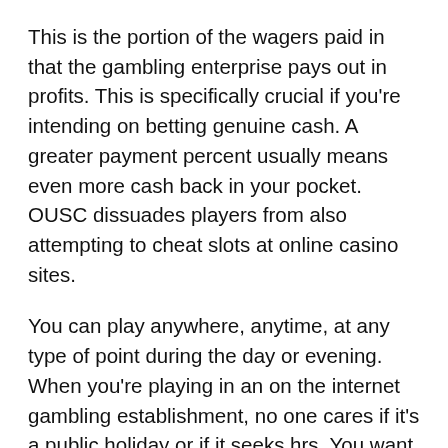This is the portion of the wagers paid in that the gambling enterprise pays out in profits. This is specifically crucial if you're intending on betting genuine cash. A greater payment percent usually means even more cash back in your pocket. OUSC dissuades players from also attempting to cheat slots at online casino sites.
You can play anywhere, anytime, at any type of point during the day or evening. When you're playing in an on the internet gambling establishment, no one cares if it's a public holiday or if it seeks hrs. You want to rotate the reels in the morning or late in the evening? Did we state that playing Home of Fun on the internet gambling enterprise slot machines is FREE? You will